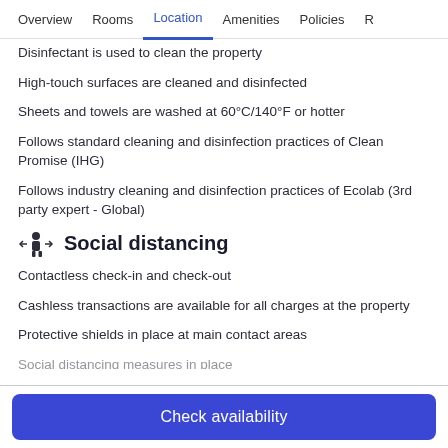Overview  Rooms  Location  Amenities  Policies  R
Disinfectant is used to clean the property
High-touch surfaces are cleaned and disinfected
Sheets and towels are washed at 60°C/140°F or hotter
Follows standard cleaning and disinfection practices of Clean Promise (IHG)
Follows industry cleaning and disinfection practices of Ecolab (3rd party expert - Global)
Social distancing
Contactless check-in and check-out
Cashless transactions are available for all charges at the property
Protective shields in place at main contact areas
Social distancing measures in place
Check availability